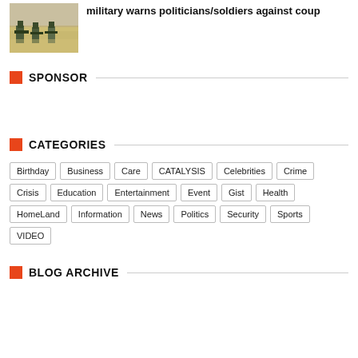[Figure (photo): Soldiers in camouflage gear aiming rifles in a dusty field]
military warns politicians/soldiers against coup
SPONSOR
CATEGORIES
Birthday
Business
Care
CATALYSIS
Celebrities
Crime
Crisis
Education
Entertainment
Event
Gist
Health
HomeLand
Information
News
Politics
Security
Sports
VIDEO
BLOG ARCHIVE